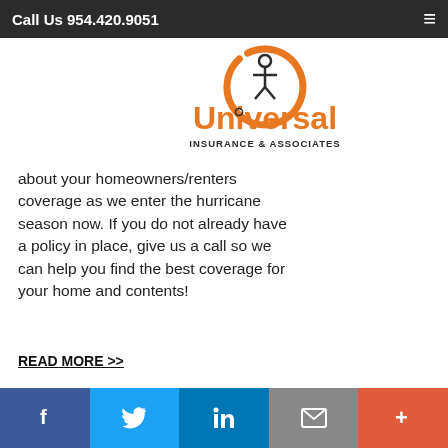Call Us 954.420.9051
[Figure (logo): Universal Insurance & Associates logo — orange circular arc above bold orange 'Universal' text with 'INSURANCE & ASSOCIATES' in dark text below]
about your homeowners/renters coverage as we enter the hurricane season now. If you do not already have a policy in place, give us a call so we can help you find the best coverage for your home and contents!
READ MORE >>
[Figure (logo): Accessibility icon — blue circle with person figure]